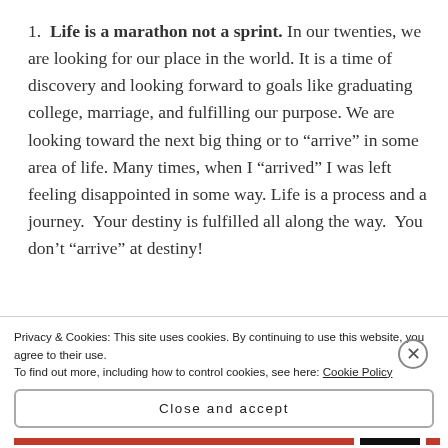Life is a marathon not a sprint. In our twenties, we are looking for our place in the world. It is a time of discovery and looking forward to goals like graduating college, marriage, and fulfilling our purpose. We are looking toward the next big thing or to "arrive" in some area of life. Many times, when I "arrived" I was left feeling disappointed in some way. Life is a process and a journey.  Your destiny is fulfilled all along the way.  You don't "arrive" at destiny!
Privacy & Cookies: This site uses cookies. By continuing to use this website, you agree to their use.
To find out more, including how to control cookies, see here: Cookie Policy
Close and accept